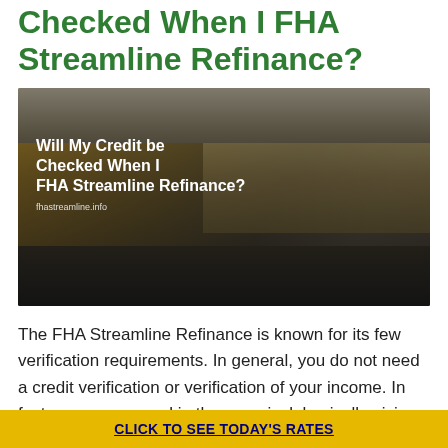Checked When I FHA Streamline Refinance?
[Figure (photo): Kitchen interior image with overlay text reading 'Will My Credit be Checked When I FHA Streamline Refinance?' and website URL 'fhastreamline.info']
The FHA Streamline Refinance is known for its few verification requirements. In general, you do not need a credit verification or verification of your income. In fact, you can even skip the appraisal, basically giving you a
CLICK TO SEE TODAY'S RATES